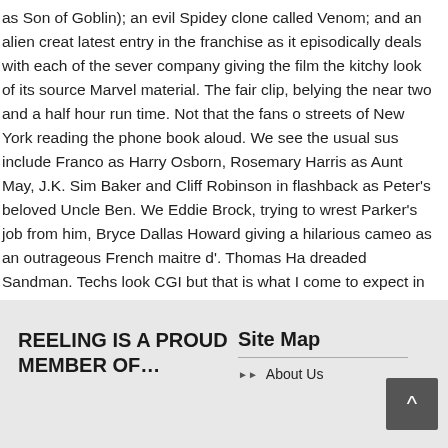as Son of Goblin); an evil Spidey clone called Venom; and an alien creat latest entry in the franchise as it episodically deals with each of the sever company giving the film the kitchy look of its source Marvel material. The fair clip, belying the near two and a half hour run time. Not that the fans o streets of New York reading the phone book aloud. We see the usual sus include Franco as Harry Osborn, Rosemary Harris as Aunt May, J.K. Sim Baker and Cliff Robinson in flashback as Peter's beloved Uncle Ben. We Eddie Brock, trying to wrest Parker's job from him, Bryce Dallas Howard giving a hilarious cameo as an outrageous French maitre d'. Thomas Ha dreaded Sandman. Techs look CGI but that is what I come to expect in th number three – when we are not subjected to Peter's romantic woes. Sp the competition and, most likely, garnering huge box office receipts. It is e for the non-fans dragged to it by their Significant Others.
REELING IS A PROUD MEMBER OF…
Site Map
About Us